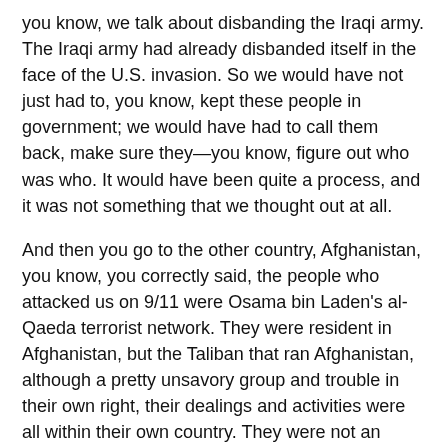you know, we talk about disbanding the Iraqi army. The Iraqi army had already disbanded itself in the face of the U.S. invasion. So we would have not just had to, you know, kept these people in government; we would have had to call them back, make sure they—you know, figure out who was who. It would have been quite a process, and it was not something that we thought out at all.
And then you go to the other country, Afghanistan, you know, you correctly said, the people who attacked us on 9/11 were Osama bin Laden's al-Qaeda terrorist network. They were resident in Afghanistan, but the Taliban that ran Afghanistan, although a pretty unsavory group and trouble in their own right, their dealings and activities were all within their own country. They were not an international terrorist group. But to get to al-Qaeda, we felt like we had to go through the Taliban.
AMY GOODMAN: Fifteen of the 19 of them were from Saudi Arabia.
LT. GEN. DANIEL BOLGER: Very true, exactly right, because al-Qaeda, international terrorist group. And from an